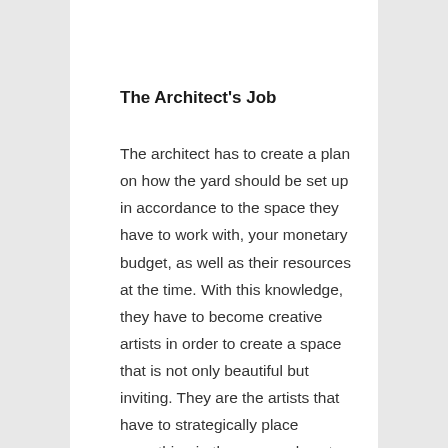The Architect's Job
The architect has to create a plan on how the yard should be set up in accordance to the space they have to work with, your monetary budget, as well as their resources at the time. With this knowledge, they have to become creative artists in order to create a space that is not only beautiful but inviting. They are the artists that have to strategically place everything in the proper place to add to the